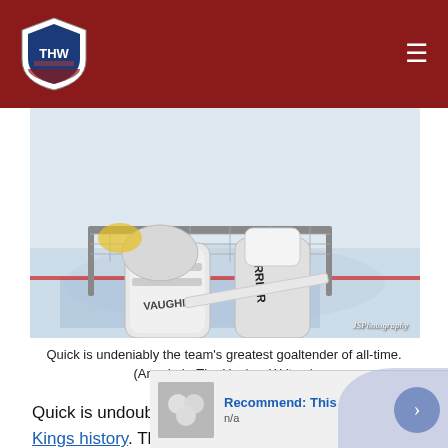THW - The Hockey Writers
[Figure (photo): Close-up photo of a hockey goaltender's equipment including Vaughn pads and a Warrior stick resting on the ice in front of a net. Photo credit: JSPhotography]
Quick is undeniably the team's greatest goaltender of all-time. (Amy Irvin-The Hockey Writers)
Quick is undoubtedly the best goaltender in the Kings history. The 2011-12 Conn Smyth Trophy winner has been a staple between the pipes over the course of his 11-year NHL career. The Milford, Connecticut native holds the franchise lead in